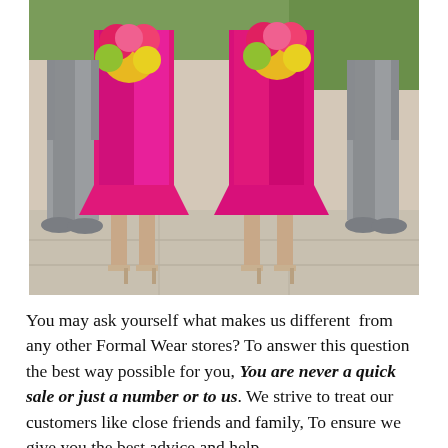[Figure (photo): Wedding party photo showing lower bodies of two men in grey suits and two women in hot pink/fuchsia bridesmaid dresses holding colorful bouquets of pink, yellow, and green flowers, standing on a light pavement. Women are wearing gold strappy heels, men are wearing grey dress shoes.]
You may ask yourself what makes us different from any other Formal Wear stores? To answer this question the best way possible for you, You are never a quick sale or just a number or to us. We strive to treat our customers like close friends and family, To ensure we give you the best advice and help